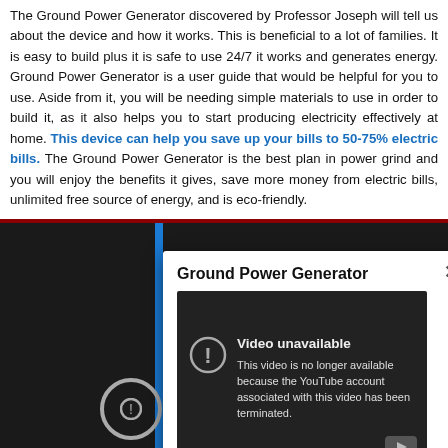The Ground Power Generator discovered by Professor Joseph will tell us about the device and how it works. This is beneficial to a lot of families. It is easy to build plus it is safe to use 24/7 it works and generates energy. Ground Power Generator is a user guide that would be helpful for you to use. Aside from it, you will be needing simple materials to use in order to build it, as it also helps you to start producing electricity effectively at home. This device can help you save up your bills to 50-75% electric bills. The Ground Power Generator is the best plan in power grind and you will enjoy the benefits it gives, save more money from electric bills, unlimited free source of energy, and is eco-friendly.
[Figure (screenshot): Screenshot of a YouTube video popup titled 'Ground Power Generator' showing a 'Video unavailable' message stating the video is no longer available because the YouTube account associated with this video has been terminated. A YouTube icon is visible in the bottom right of the video area. Below the dark background area is a partial 'By' credit text.]
Would you like to know more?